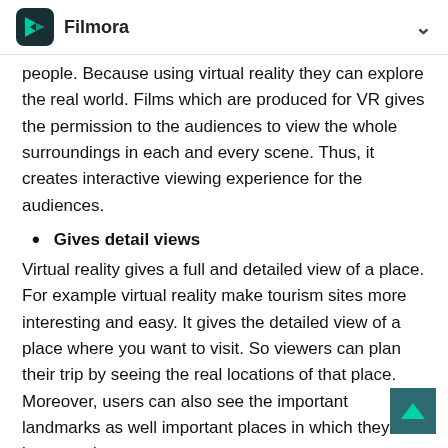Filmora
people. Because using virtual reality they can explore the real world. Films which are produced for VR gives the permission to the audiences to view the whole surroundings in each and every scene. Thus, it creates interactive viewing experience for the audiences.
Gives detail views
Virtual reality gives a full and detailed view of a place. For example virtual reality make tourism sites more interesting and easy. It gives the detailed view of a place where you want to visit. So viewers can plan their trip by seeing the real locations of that place. Moreover, users can also see the important landmarks as well important places in which they are interested to go.